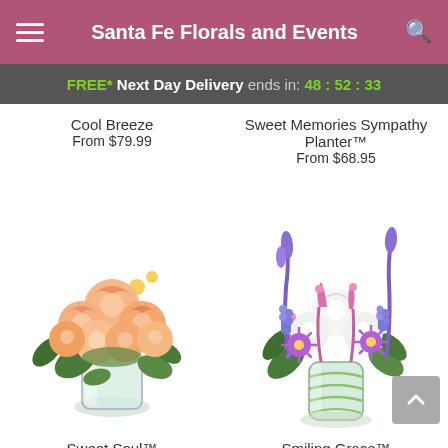Santa Fe Florals and Events
FREE* Next Day Delivery ends in: 48 : 52 : 33
Cool Breeze
From $79.99
Sweet Memories Sympathy Planter™
From $68.95
[Figure (photo): Bouquet of peach and orange roses in a clear glass vase - Sweet Soul™]
[Figure (photo): Arrangement of purple, pink, and white flowers in a striped green glass vase - Smiling Grace™]
Sweet Soul™
Smiling Grace™